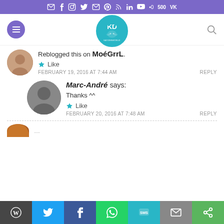Social media icon bar (email, facebook, instagram, twitter, email, pinterest, rss, linkedin, youtube, 500px, vk)
[Figure (screenshot): Website navigation bar with hamburger menu, Katzenworld cat logo, and search icon]
Reblogged this on MoéGrrL.
Like
FEBRUARY 19, 2016 AT 7:44 AM
REPLY
Marc-André says: Thanks ^^
Like
FEBRUARY 20, 2016 AT 7:48 AM
REPLY
Share bar: WordPress, Twitter, Facebook, WhatsApp, SMS, Email, Google